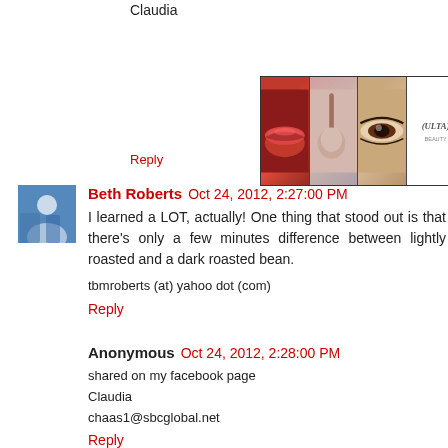Claudia
[Figure (advertisement): ULTA Beauty advertisement banner with beauty images - lips with red lipstick, makeup brush, eye closeup, ULTA logo, smoky eye, and SHOP NOW text]
Reply
Beth Roberts  Oct 24, 2012, 2:27:00 PM
I learned a LOT, actually! One thing that stood out is that there's only a few minutes difference between lightly roasted and a dark roasted bean.

tbmroberts (at) yahoo dot (com)
Reply
Anonymous  Oct 24, 2012, 2:28:00 PM
shared on my facebook page
Claudia
chaas1@sbcglobal.net
Reply